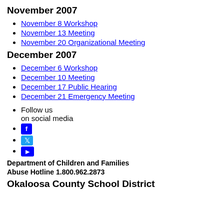November 2007
November 8 Workshop
November 13 Meeting
November 20 Organizational Meeting
December 2007
December 6 Workshop
December 10 Meeting
December 17 Public Hearing
December 21 Emergency Meeting
Follow us on social media
Facebook icon
Twitter icon
YouTube icon
Department of Children and Families Abuse Hotline 1.800.962.2873
Okaloosa County School District...